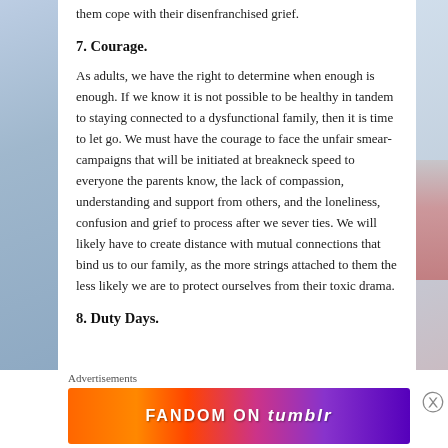them cope with their disenfranchised grief.
7. Courage.
As adults, we have the right to determine when enough is enough. If we know it is not possible to be healthy in tandem to staying connected to a dysfunctional family, then it is time to let go. We must have the courage to face the unfair smear-campaigns that will be initiated at breakneck speed to everyone the parents know, the lack of compassion, understanding and support from others, and the loneliness, confusion and grief to process after we sever ties. We will likely have to create distance with mutual connections that bind us to our family, as the more strings attached to them the less likely we are to protect ourselves from their toxic drama.
8. Duty Days.
Advertisements
[Figure (infographic): Fandom on Tumblr advertisement banner with colorful gradient background (orange to purple) and white bold text reading FANDOM ON tumblr]